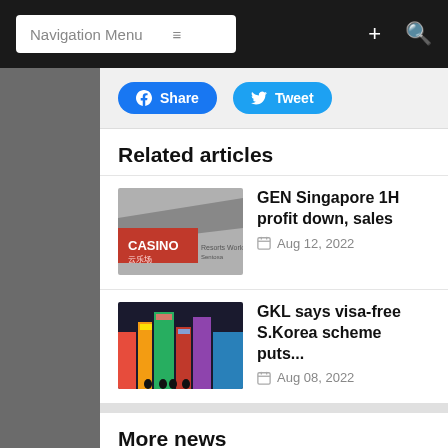Navigation Menu
Share  Tweet
Related articles
GEN Singapore 1H profit down, sales
Aug 12, 2022
GKL says visa-free S.Korea scheme puts...
Aug 08, 2022
More news
GEN Malaysia 2Q revenue up 166pct...
Aug 25, 2022
Govt should lead on Macau op....